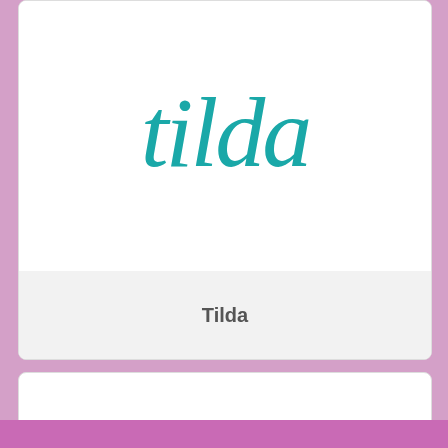[Figure (illustration): Tilda font card showing teal script lettering 'tilda' at top and a light gray label area at bottom with the word 'Tilda' in bold gray sans-serif]
[Figure (illustration): Font card showing teal script lettering reading 'tone on tone' arranged in three stacked lines]